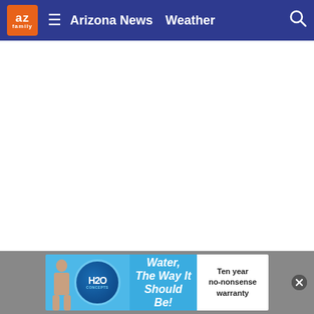az family | Arizona News  Weather
[Figure (screenshot): White empty main content area of azfamily.com news website]
[Figure (infographic): H2O Concepts advertisement banner: 'Water, The Way It Should Be!' with Ten year no-nonsense warranty]